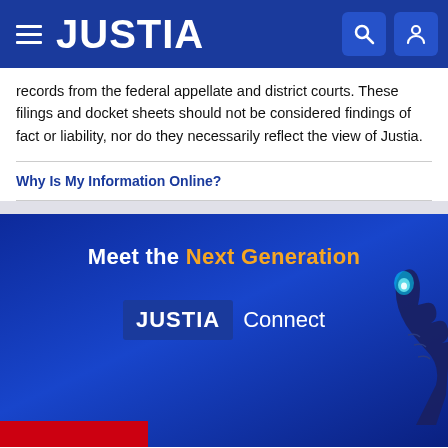JUSTIA
records from the federal appellate and district courts. These filings and docket sheets should not be considered findings of fact or liability, nor do they necessarily reflect the view of Justia.
Why Is My Information Online?
[Figure (infographic): Justia Connect promotional banner with 'Meet the Next Generation' heading and JUSTIA Connect logo with a glowing hand illustration on a dark blue gradient background]
[Figure (other): Red button strip at bottom of blue section]